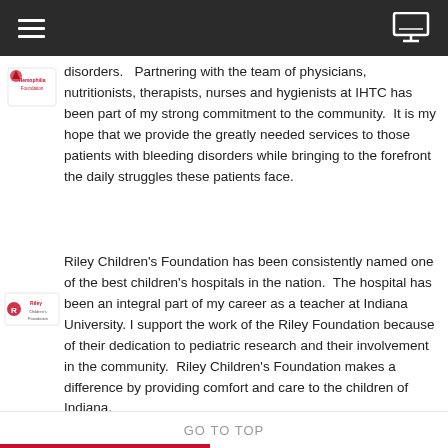Navigation bar with hamburger menu and monitor icon
disorders.   Partnering with the team of physicians, nutritionists, therapists, nurses and hygienists at IHTC has been part of my strong commitment to the community.  It is my hope that we provide the greatly needed services to those patients with bleeding disorders while bringing to the forefront the daily struggles these patients face.
Riley Children’s Foundation has been consistently named one of the best children’s hospitals in the nation.  The hospital has been an integral part of my career as a teacher at Indiana University. I support the work of the Riley Foundation because of their dedication to pediatric research and their involvement in the community.  Riley Children’s Foundation makes a difference by providing comfort and care to the children of Indiana.
GO TO TOP